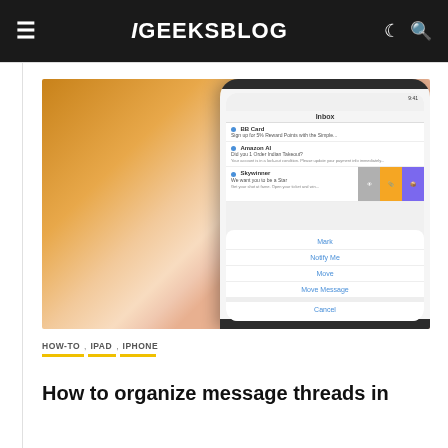iGEEKSBLOG
[Figure (screenshot): Hand holding iPhone showing Mail app with message threads and action sheet with options: Mark, Notify Me, Move, Move Message, Cancel]
HOW-TO, IPAD, IPHONE
How to organize message threads in